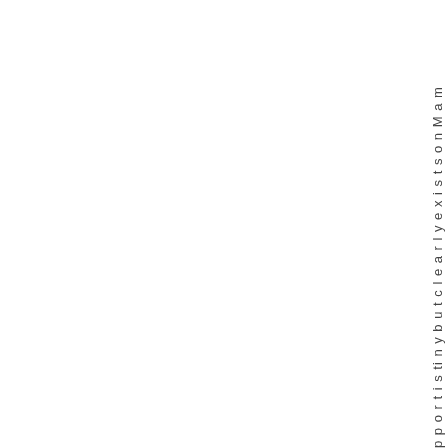pportunisty but clearly exists on MaM